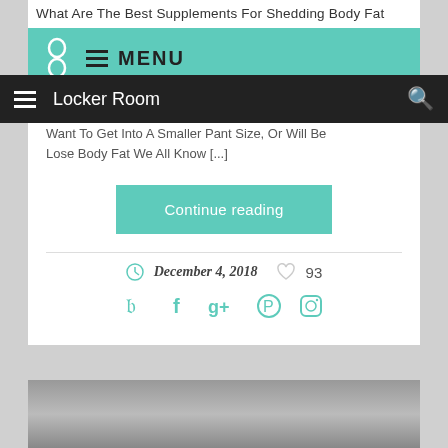What Are The Best Supplements For Shedding Body Fat
[Figure (screenshot): Teal navigation bar with logo and MENU text]
Locker Room
Want To Get Into A Smaller Pant Size, Or Will Be Lose Body Fat We All Know [...]
Continue reading
December 4, 2018   93
[Figure (screenshot): Social media icons: Twitter, Facebook, Google+, Pinterest, Instagram in teal color]
[Figure (photo): Black and white photo partially visible at bottom of page]